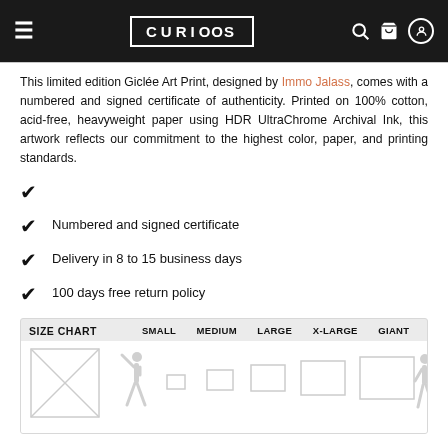CURIOSS
This limited edition Giclée Art Print, designed by Immo Jalass, comes with a numbered and signed certificate of authenticity. Printed on 100% cotton, acid-free, heavyweight paper using HDR UltraChrome Archival Ink, this artwork reflects our commitment to the highest color, paper, and printing standards.
✓
✓ Numbered and signed certificate
✓ Delivery in 8 to 15 business days
✓ 100 days free return policy
| SIZE CHART | SMALL | MEDIUM | LARGE | X-LARGE | GIANT |
| --- | --- | --- | --- | --- | --- |
[Figure (illustration): Size chart illustration showing silhouette of a person next to five progressively larger rectangles representing print sizes: Small, Medium, Large, X-Large, Giant]
ALSO AVAILABLE AS